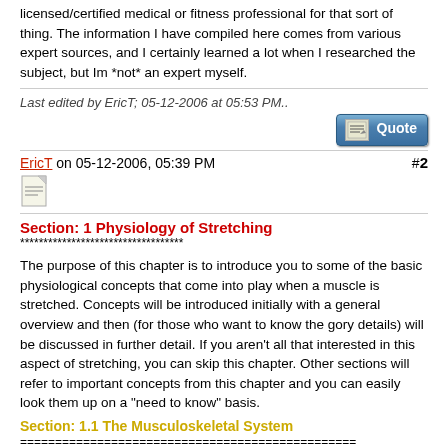licensed/certified medical or fitness professional for that sort of thing. The information I have compiled here comes from various expert sources, and I certainly learned a lot when I researched the subject, but Im *not* an expert myself.
Last edited by EricT; 05-12-2006 at 05:53 PM..
[Figure (other): Quote button with paper/pen icon]
EricT on 05-12-2006, 05:39 PM  #2
[Figure (other): Post icon - document thumbnail]
Section: 1 Physiology of Stretching
***********************************
The purpose of this chapter is to introduce you to some of the basic physiological concepts that come into play when a muscle is stretched. Concepts will be introduced initially with a general overview and then (for those who want to know the gory details) will be discussed in further detail. If you aren't all that interested in this aspect of stretching, you can skip this chapter. Other sections will refer to important concepts from this chapter and you can easily look them up on a "need to know" basis.
Section: 1.1 The Musculoskeletal System
================================================